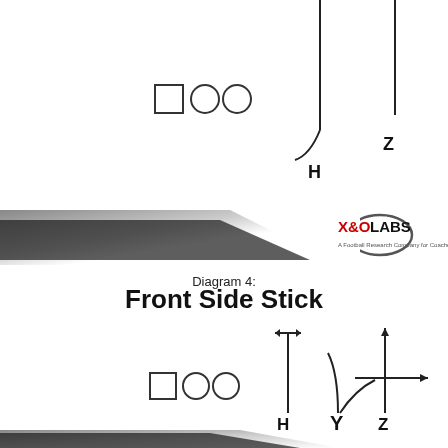[Figure (schematic): Football play diagram top section showing offensive line symbols (square, two circles) on left, route H with hook/curl going down from top center, and Z label on right with vertical line from top]
[Figure (illustration): Decorative diagonal gradient banner with X&O Labs logo on right]
Diagram 4:
Front Side Stick
[Figure (schematic): Football play diagram bottom section showing offensive line symbols (square, two circles) on left, H route with double-headed arrow going straight down, Y label in center with curved route, Z label on right with crossing routes going up with arrow and right with arrow]
[Figure (illustration): Decorative diagonal gradient banner at bottom (partial)]